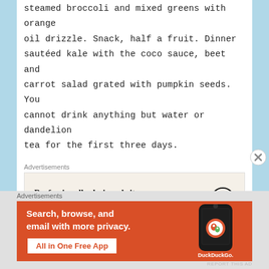steamed broccoli and mixed greens with orange oil drizzle. Snack, half a fruit. Dinner sautéed kale with the coco sauce, beet and carrot salad grated with pumpkin seeds. You cannot drink anything but water or dandelion tea for the first three days.
[Figure (other): WordPress advertisement banner: 'Professionally designed sites in less than a week' with WordPress logo on beige background]
The first 3 days you are cleansing your body of toxins and eating the most non-reactionary
[Figure (other): DuckDuckGo advertisement: 'Search, browse, and email with more privacy. All in One Free App' on orange background with phone graphic]